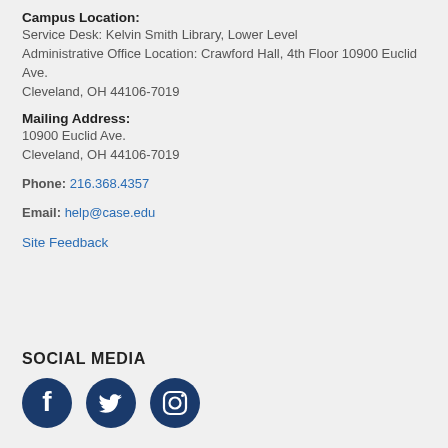Campus Location:
Service Desk: Kelvin Smith Library, Lower Level
Administrative Office Location: Crawford Hall, 4th Floor 10900 Euclid Ave.
Cleveland, OH 44106-7019
Mailing Address:
10900 Euclid Ave.
Cleveland, OH 44106-7019
Phone: 216.368.4357
Email: help@case.edu
Site Feedback
SOCIAL MEDIA
[Figure (other): Social media icons: Facebook, Twitter, Instagram]